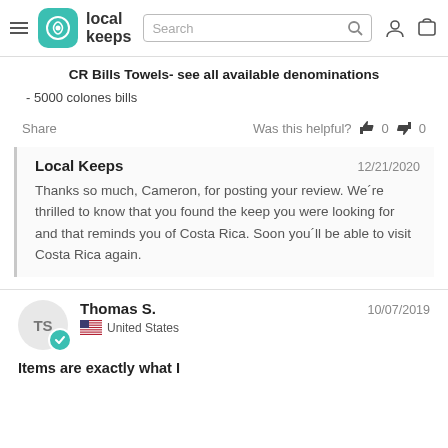local keeps — navigation bar with search
CR Bills Towels- see all available denominations
- 5000 colones bills
Share   Was this helpful? 👍 0 👎 0
Local Keeps  12/21/2020
Thanks so much, Cameron, for posting your review. We´re thrilled to know that you found the keep you were looking for and that reminds you of Costa Rica. Soon you´ll be able to visit Costa Rica again.
Thomas S.  10/07/2019  United States
Items are exactly what I